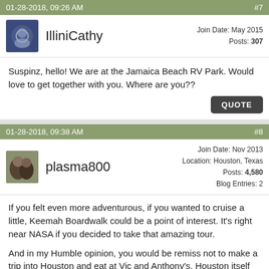01-28-2018, 09:26 AM   #7
IlliniCathy
Join Date: May 2015
Posts: 307
Suspinz, hello! We are at the Jamaica Beach RV Park. Would love to get together with you. Where are you??
01-28-2018, 09:38 AM   #8
plasma800
Join Date: Nov 2013
Location: Houston, Texas
Posts: 4,580
Blog Entries: 2
If you felt even more adventurous, if you wanted to cruise a little, Keemah Boardwalk could be a point of interest. It's right near NASA if you decided to take that amazing tour.

And in my Humble opinion, you would be remiss not to make a trip into Houston and eat at Vic and Anthony's. Houston itself has a buzzing current of fabulous theater, symphony, and shows.

If this type of thing interests you at all, a date night at Vic And